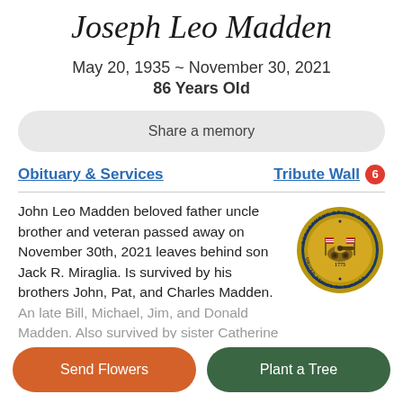Joseph Leo Madden
May 20, 1935 ~ November 30, 2021
86 Years Old
Share a memory
Obituary & Services
Tribute Wall 6
John Leo Madden beloved father uncle brother and veteran passed away on November 30th, 2021 leaves behind son Jack R. Miraglia. Is survived by his brothers John, Pat, and Charles Madden. An late Bill, Michael, Jim, and Donald Madden. Also survived by sister Catherine
[Figure (logo): U.S. Department of the Army seal — circular gold and blue emblem with American flag, cannon, and text 'Department of the Army, United States of America, 1775']
Send Flowers
Plant a Tree